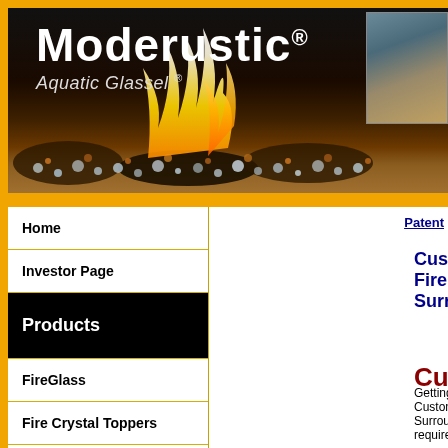[Figure (photo): Moderustic Aquatic Glassel banner with fire and glass stones on black background]
Moderustic® Aquatic Glassel ®
Home
Investor Page
Products
FireGlass
Fire Crystal Toppers
Toppings
Ice Ice Ice
Custom Fireplace Surrounds
Patent
Custom
Getting a Custom Surround requires: